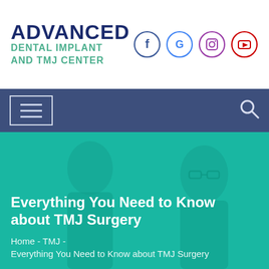[Figure (logo): Advanced Dental Implant and TMJ Center logo with social media icons (Facebook, Google, Instagram, YouTube)]
[Figure (screenshot): Navigation bar with hamburger menu icon on left and search icon on right, dark blue background]
[Figure (photo): Hero banner with teal overlay showing two people (doctor and patient) smiling. Contains page title and breadcrumb text.]
Everything You Need to Know about TMJ Surgery
Home - TMJ - Everything You Need to Know about TMJ Surgery